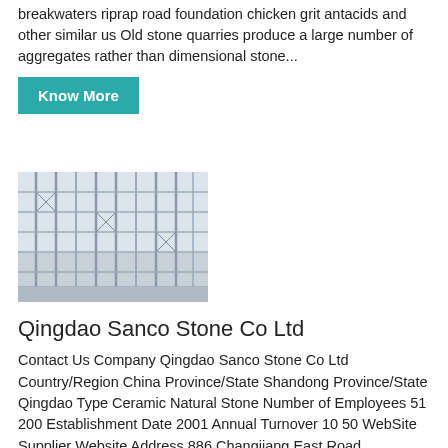breakwaters riprap road foundation chicken grit antacids and other similar us Old stone quarries produce a large number of aggregates rather than dimensional stone...
Know More
[Figure (photo): Industrial scaffolding or steel framework structure, possibly a construction or industrial facility]
Qingdao Sanco Stone Co Ltd
Contact Us Company Qingdao Sanco Stone Co Ltd Country/Region China Province/State Shandong Province/State Qingdao Type Ceramic Natural Stone Number of Employees 51 200 Establishment Date 2001 Annual Turnover 10 50 WebSite Supplier Website Address 886 Changjiang East Road Huangdao ETDZ Qingdao